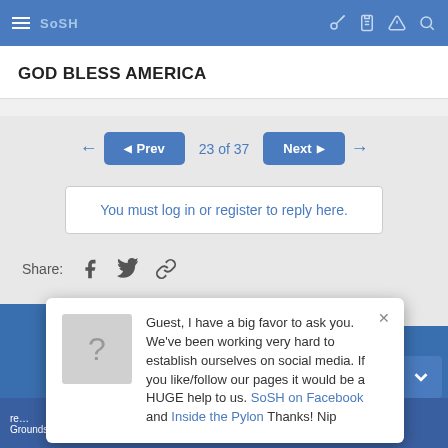SoSH navigation bar
GOD BLESS AMERICA
← Prev  23 of 37  Next →
You must log in or register to reply here.
Share: [Facebook] [Twitter] [Link]
Guest, I have a big favor to ask you. We've been working very hard to establish ourselves on social media. If you like/follow our pages it would be a HUGE help to us. SoSH on Facebook and Inside the Pylon Thanks! Nip
re ... untingto ... en Grounds, Joe Shlabotnick, ZMart100, cloningers Flask, nanobaka, Hard